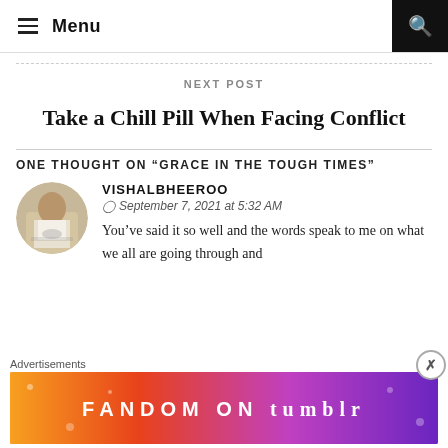Menu
NEXT POST
Take a Chill Pill When Facing Conflict
ONE THOUGHT ON “GRACE IN THE TOUGH TIMES”
VISHALBHEEROO
September 7, 2021 at 5:32 AM
You’ve said it so well and the words speak to me on what we all are going through and
Advertisements
[Figure (illustration): Fandom on Tumblr advertisement banner with colorful gradient background from orange to purple]